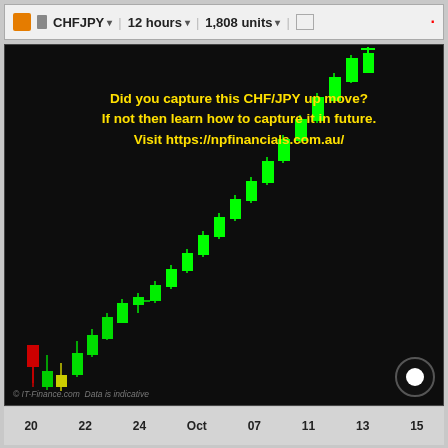CHFJPY  12 hours  1,808 units
[Figure (other): Candlestick chart of CHF/JPY on 12-hour timeframe showing a strong upward trending sequence of green bullish candles rising from lower left to upper right, with a few red/yellow candles at the start (around Sep 20). The candles progressively move higher from Sep 20 through Oct 15. Overlaid text in yellow bold: 'Did you capture this CHF/JPY up move? If not then learn how to capture it in future. Visit https://npfinancials.com.au/'. Watermark at bottom: '© IT-Finance.com  Data is indicative'.]
Did you capture this CHF/JPY up move? If not then learn how to capture it in future. Visit https://npfinancials.com.au/
20   22   24   Oct   07   11   13   15